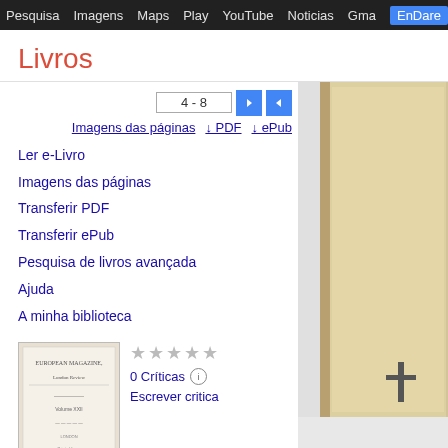Pesquisa  Imagens  Maps  Play  YouTube  Noticias  Gmail  EnDare  ✦  ...
Livros
4 - 8
Imagens das páginas  ↓ PDF  ↓ ePub
Ler e-Livro
Imagens das páginas
Transferir PDF
Transferir ePub
Pesquisa de livros avançada
Ajuda
A minha biblioteca
[Figure (photo): Book cover thumbnail for The European Magazine, and London Review, Volume 22]
0 Críticas  Escrever critica
[Figure (photo): Page image from The European Magazine, showing a book spine and cross detail against a beige background]
The European Magazine, and London Review, Volume 22